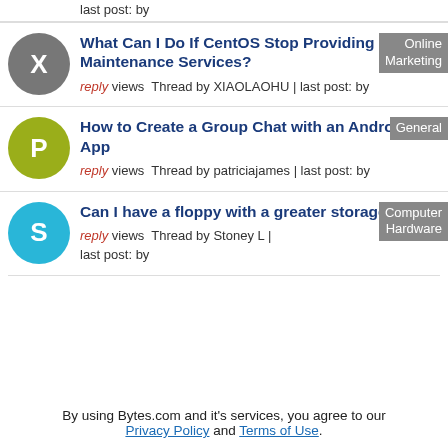last post: by
What Can I Do If CentOS Stop Providing Maintenance Services? | Online Marketing | reply views Thread by XIAOLAOHU | last post: by
How to Create a Group Chat with an Android App | General | reply views Thread by patriciajames | last post: by
Can I have a floppy with a greater storage? | Computer Hardware | reply views Thread by Stoney L | last post: by
By using Bytes.com and it's services, you agree to our Privacy Policy and Terms of Use.